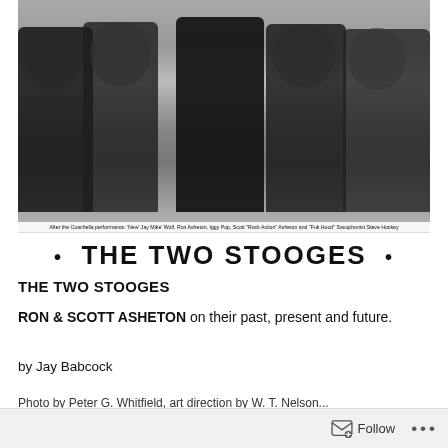[Figure (photo): Black and white group photo of five people (including Iggy Pop and the Asheton brothers) after a Coachella performance, with caption below the image reading: 'After the Coachella performance: 'New' Jay Mike' Wolf, Ron Asheton, Iggy Pop, Scott "Rock Action" Asheton and "Fuk Hood" Saxophonist Steve Hockey'. Below the photo is a magazine-style title band reading '· THE TWO STOOGES ·'.]
After the Coachella performance: 'New' Jay Mike' Wolf, Ron Asheton, Iggy Pop, Scott "Rock Action" Asheton and "Fuk Hood" Saxophonist Steve Hockey
THE TWO STOOGES
RON & SCOTT ASHETON on their past, present and future.
by Jay Babcock
Photo by Peter G. Whitfield, art direction by W. T. Nelson...